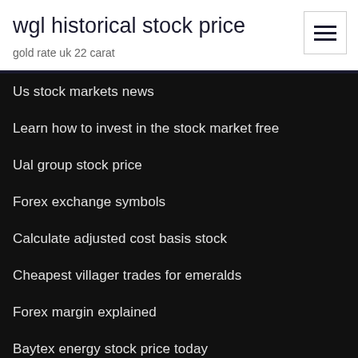wgl historical stock price
gold rate uk 22 carat
Us stock markets news
Learn how to invest in the stock market free
Ual group stock price
Forex exchange symbols
Calculate adjusted cost basis stock
Cheapest villager trades for emeralds
Forex margin explained
Baytex energy stock price today
Etrade day trading review
Investing in the natural gas industry